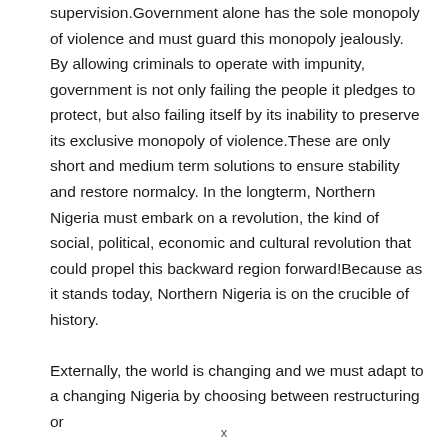supervision.Government alone has the sole monopoly of violence and must guard this monopoly jealously. By allowing criminals to operate with impunity, government is not only failing the people it pledges to protect, but also failing itself by its inability to preserve its exclusive monopoly of violence.These are only short and medium term solutions to ensure stability and restore normalcy. In the longterm, Northern Nigeria must embark on a revolution, the kind of social, political, economic and cultural revolution that could propel this backward region forward!Because as it stands today, Northern Nigeria is on the crucible of history.

Externally, the world is changing and we must adapt to a changing Nigeria by choosing between restructuring or
x